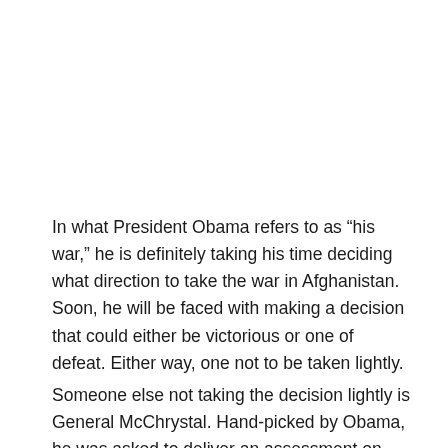In what President Obama refers to as “his war,” he is definitely taking his time deciding what direction to take the war in Afghanistan. Soon, he will be faced with making a decision that could either be victorious or one of defeat. Either way, one not to be taken lightly.
Someone else not taking the decision lightly is General McChrystal. Hand-picked by Obama, he was asked to deliver an assessment on the